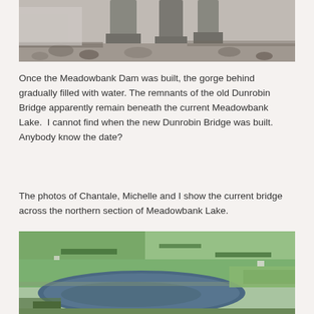[Figure (photo): Black and white photograph showing bridge piers/remnants with rocks and water at base]
Once the Meadowbank Dam was built, the gorge behind gradually filled with water. The remnants of the old Dunrobin Bridge apparently remain beneath the current Meadowbank Lake.  I cannot find when the new Dunrobin Bridge was built. Anybody know the date?
The photos of Chantale, Michelle and I show the current bridge across the northern section of Meadowbank Lake.
[Figure (photo): Aerial colour photograph showing Meadowbank Lake surrounded by green farmland and fields]